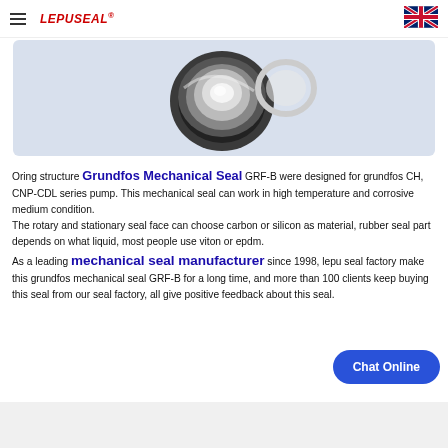LEPUSEAL (logo) | hamburger menu | UK flag
[Figure (photo): Grundfos mechanical seal GRF-B product photo on a light blue-gray background. Shows a circular mechanical seal component, dark colored ring with reflective face.]
Oring structure Grundfos Mechanical Seal GRF-B were designed for grundfos CH, CNP-CDL series pump. This mechanical seal can work in high temperature and corrosive medium condition. The rotary and stationary seal face can choose carbon or silicon as material, rubber seal part depends on what liquid, most people use viton or epdm. As a leading mechanical seal manufacturer since 1998, lepu seal factory make this grundfos mechanical seal GRF-B for a long time, and more than 100 clients keep buying this seal from our seal factory, all give positive feedback about this seal.